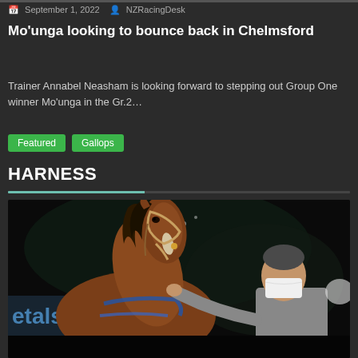September 1, 2022  NZRacingDesk
Moʼunga looking to bounce back in Chelmsford
Trainer Annabel Neasham is looking forward to stepping out Group One winner Moʼunga in the Gr.2…
Featured
Gallops
HARNESS
[Figure (photo): A brown horse wearing a harness bridle photographed close-up at night, with a man in a grey shirt wearing a white face mask visible to the right, and a partial sign reading 'etals.' in the background.]